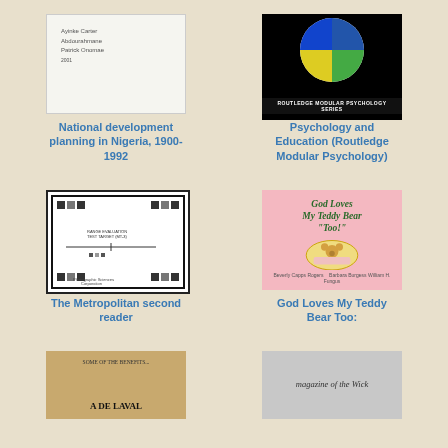[Figure (illustration): Book cover for National development planning in Nigeria, 1900-1992 - white cover with author text]
National development planning in Nigeria, 1900-1992
[Figure (illustration): Book cover for Psychology and Education (Routledge Modular Psychology) - pie chart on white background with black Routledge Modular Psychology Series banner]
Psychology and Education (Routledge Modular Psychology)
[Figure (illustration): Book cover for The Metropolitan second reader - black and white test target / photographic sciences chart]
The Metropolitan second reader
[Figure (illustration): Book cover for God Loves My Teddy Bear Too! - pink cover with illustrated teddy bear]
God Loves My Teddy Bear Too:
[Figure (illustration): Book cover for A De Laval - tan/brown cover with title text]
[Figure (illustration): Book cover showing magazine of the Wick - gray cover with italic text]